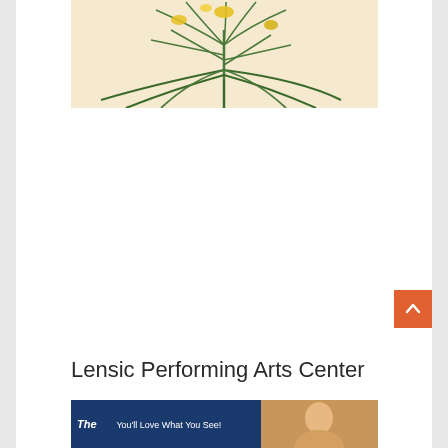[Figure (illustration): Botanical illustration showing a plant with yellow flowers and long green strap-like leaves on a cream/beige background]
Lensic Performing Arts Center
[Figure (photo): Banner strip showing a blue background with 'The' in italic and 'You'll Love What You See!' text on the left portion, and a portrait photo on the right portion]